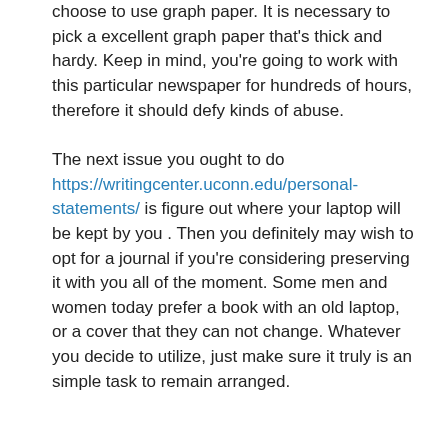choose to use graph paper. It is necessary to pick a excellent graph paper that's thick and hardy. Keep in mind, you're going to work with this particular newspaper for hundreds of hours, therefore it should defy kinds of abuse.
The next issue you ought to do https://writingcenter.uconn.edu/personal-statements/ is figure out where your laptop will be kept by you . Then you definitely may wish to opt for a journal if you're considering preserving it with you all of the moment. Some men and women today prefer a book with an old laptop, or a cover that they can not change. Whatever you decide to utilize, just make sure it truly is an simple task to remain arranged.